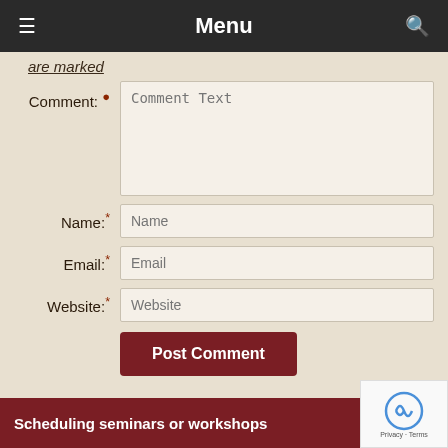Menu
are marked
Comment: *
Name: *
Email: *
Website: *
Post Comment
Scheduling seminars or workshops